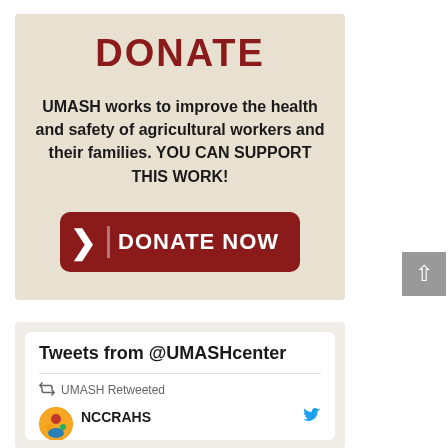DONATE
UMASH works to improve the health and safety of agricultural workers and their families. YOU CAN SUPPORT THIS WORK!
[Figure (other): Dark red rounded button with chevron arrow and text 'DONATE NOW']
Tweets from @UMASHcenter
UMASH Retweeted
NCCRAHS